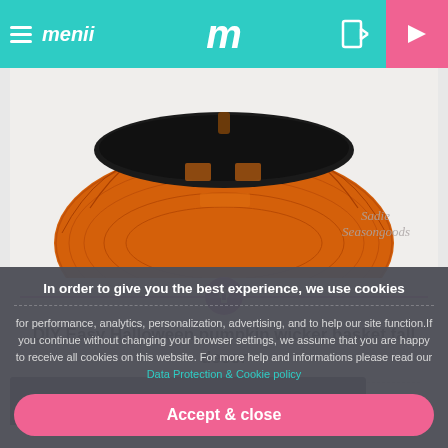menii — m — navigation icons
[Figure (photo): Orange wicker basket shaped like a pumpkin with black face, on white background. Watermark reads 'Sadie Seasongoods' in cursive.]
DIY Easy Halloween pumpkin wicker basket fall decor
( by: Sadie Seasongoods )
[Figure (photo): Partial view of a second article image, dark background, partially obscured by cookie banner.]
In order to give you the best experience, we use cookies
for performance, analytics, personalization, advertising, and to help our site function.If you continue without changing your browser settings, we assume that you are happy to receive all cookies on this website. For more help and informations please read our Data Protection & Cookie policy
Accept & close